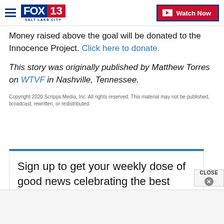FOX 13 SALT LAKE CITY | Watch Now
Money raised above the goal will be donated to the Innocence Project. Click here to donate.
This story was originally published by Matthew Torres on WTVF in Nashville, Tennessee.
Copyright 2020 Scripps Media, Inc. All rights reserved. This material may not be published, broadcast, rewritten, or redistributed.
Sign up to get your weekly dose of good news celebrating the best people and places in the Bluegrass! It's free and